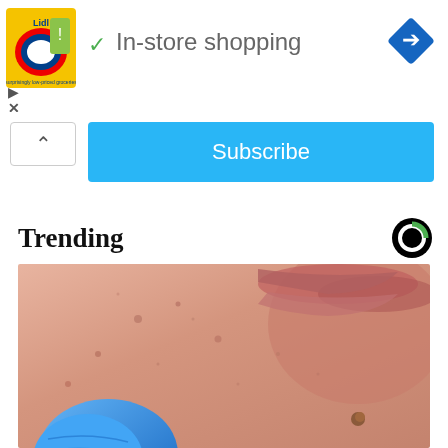[Figure (screenshot): Lidl store advertisement banner with yellow/green logo and 'In-store shopping' text with green checkmark, blue diamond navigation icon on right, with play and close controls below]
Subscribe
Trending
[Figure (photo): Close-up photo of human skin (face/cheek area) with small blemishes and a blue gloved hand/finger visible at bottom]